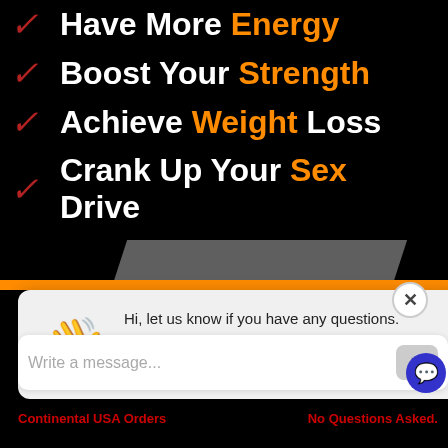Have More Energy
Boost Your Strength
Achieve Weight Loss
Crank Up Your Sex Drive
[Figure (screenshot): Live chat popup widget with waving hand emoji, message 'Hi, let us know if you have any questions.', 'Chat now' blue button, 'Just browsing' gray button, and a message input bar with send arrow.]
Continental USA Orders
No Questions Asked.